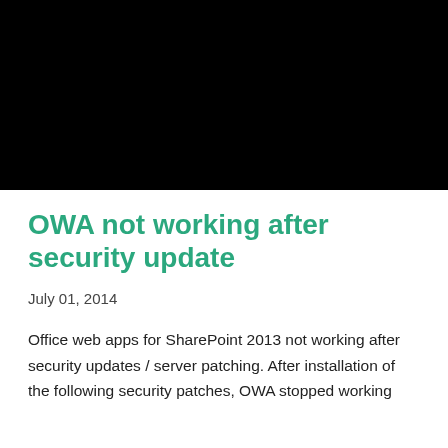[Figure (photo): Black rectangle image area at top of page]
OWA not working after security update
July 01, 2014
Office web apps for SharePoint 2013 not working after security updates / server patching. After installation of the following security patches, OWA stopped working